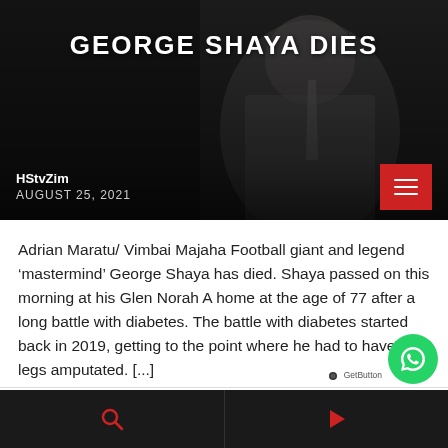[Figure (photo): Hero image of George Shaya, a man in a suit and tie, dark background, with title overlay 'GEORGE SHAYA DIES', source 'HStvZim', date 'AUGUST 25, 2021', and red hamburger menu button]
GEORGE SHAYA DIES
HStvZim
AUGUST 25, 2021
Adrian Maratu/ Vimbai Majaha Football giant and legend ‘mastermind’ George Shaya has died. Shaya passed on this morning at his Glen Norah A home at the age of 77 after a long battle with diabetes. The battle with diabetes started back in 2019, getting to the point where he had to have his legs amputated. [...]